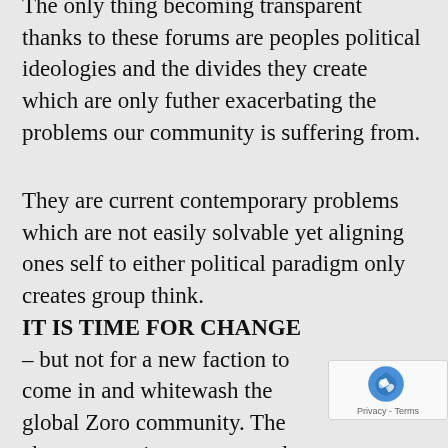The only thing becoming transparent thanks to these forums are peoples political ideologies and the divides they create which are only futher exacerbating the problems our community is suffering from.
They are current contemporary problems which are not easily solvable yet aligning ones self to either political paradigm only creates group think.
IT IS TIME FOR CHANGE – but not for a new faction to come in and whitewash the global Zoro community. The change must incorporate real solution to the debilitating problems whilst not relinquishing what it means to be Zoroastrian. If this religion is to survive
[Figure (other): reCAPTCHA badge showing Privacy - Terms]